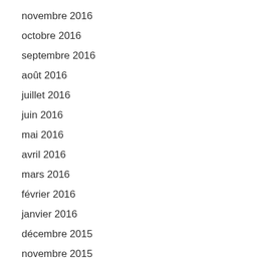novembre 2016
octobre 2016
septembre 2016
août 2016
juillet 2016
juin 2016
mai 2016
avril 2016
mars 2016
février 2016
janvier 2016
décembre 2015
novembre 2015